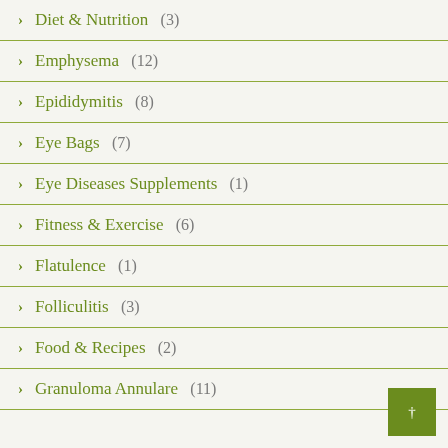Diet & Nutrition (3)
Emphysema (12)
Epididymitis (8)
Eye Bags (7)
Eye Diseases Supplements (1)
Fitness & Exercise (6)
Flatulence (1)
Folliculitis (3)
Food & Recipes (2)
Granuloma Annulare (11)